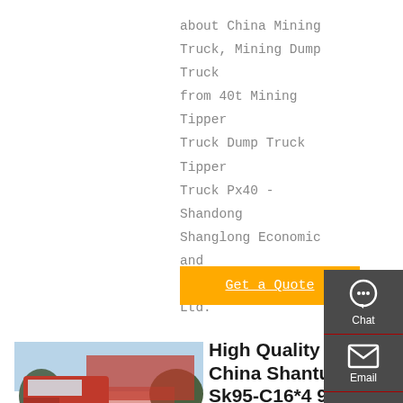about China Mining Truck, Mining Dump Truck from 40t Mining Tipper Truck Dump Truck Tipper Truck Px40 - Shandong Shanglong Economic and Trade Corporation Ltd.
Get a Quote
[Figure (photo): Red truck (tractor unit) parked outdoors with Chinese text banners in the background]
High Quality China Shantui Sk95-C16*4 95ton Wide Body Self
High Quality China